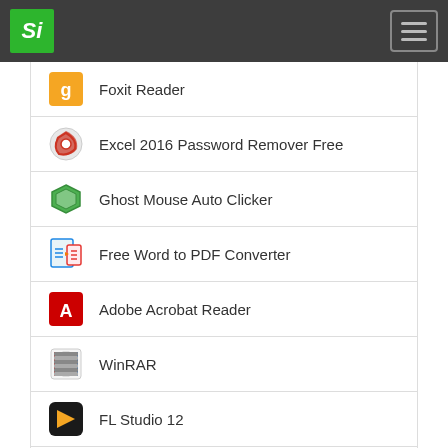Si [logo] | hamburger menu
Foxit Reader
Excel 2016 Password Remover Free
Ghost Mouse Auto Clicker
Free Word to PDF Converter
Adobe Acrobat Reader
WinRAR
FL Studio 12
Free PDF Reader
Google Web Designer
Submit Softwares - Contact - Privacy Policy - © StandaloneInstaller.com 2018